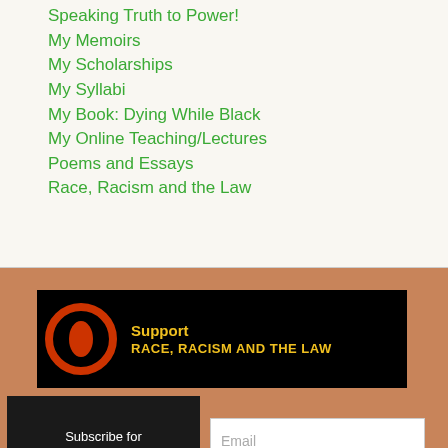Speaking Truth to Power!
My Memoirs
My Scholarships
My Syllabi
My Book: Dying While Black
My Online Teaching/Lectures
Poems and Essays
Race, Racism and the Law
[Figure (logo): Black banner with orange circular Patreon-style logo on the left and yellow text reading 'Support RACE, RACISM AND THE LAW' on the right]
Subscribe for Monthly Updates
Email